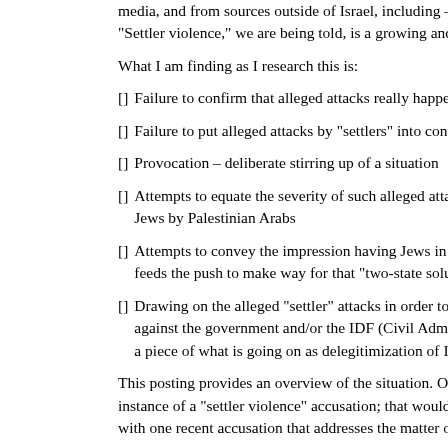media, and from sources outside of Israel, including – wouldn't y... "Settler violence," we are being told, is a growing and serious pr...
What I am finding as I research this is:
Failure to confirm that alleged attacks really happened as repo...
Failure to put alleged attacks by "settlers" into context
Provocation – deliberate stirring up of a situation
Attempts to equate the severity of such alleged attacks by "set... Jews by Palestinian Arabs
Attempts to convey the impression having Jews in Judea & Sa... feeds the push to make way for that "two-state solution"
Drawing on the alleged "settler" attacks in order to level either... against the government and/or the IDF (Civil Administration) for f... a piece of what is going on as delegitimization of Israel increases...
This posting provides an overview of the situation. Obviously, I c... instance of a "settler violence" accusation; that would require a b... with one recent accusation that addresses the matter of context.
In late December or early January, it made the news that student... threw stones directly outside or within the perimeter of the neigh...